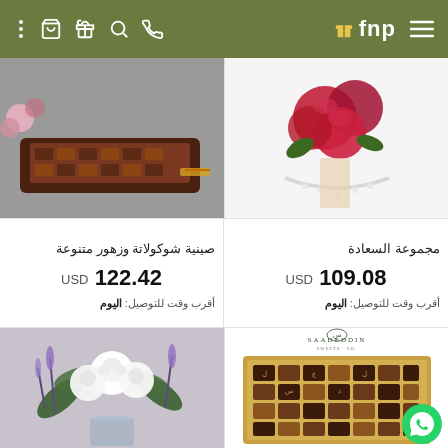fnp — navigation bar with cart, gift, search, phone icons
[Figure (photo): Chocolate tray with assorted chocolates and flowers arrangement on dark wooden tray, gray background]
[Figure (photo): Red rose bouquet with pearl ribbon on white background]
صينية شوكولاتة وزهور متنوعة
USD 122.42
أقرب وقت للتوصيل: اليوم
مجموعة السعادة
USD 109.08
أقرب وقت للتوصيل: اليوم
[Figure (photo): White roses bouquet with lavender and green leaves in glass vase on light purple background]
[Figure (photo): Saadeddin brand assorted chocolate box in golden tray, top view]